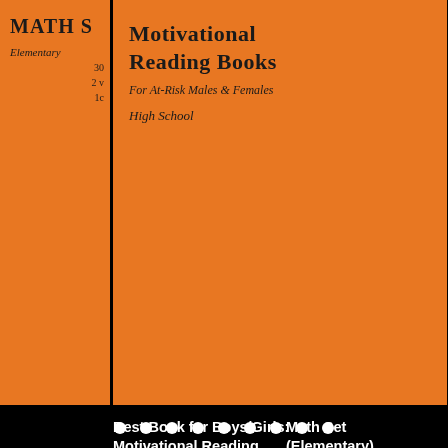[Figure (illustration): Three book covers on orange backgrounds in a carousel. Left partial cover shows '20 books'. Center cover shows 'Motivational Reading Books For At-Risk Males & Females' and 'High School'. Right partial cover shows 'MATH S' and 'Elementary'.]
Best Book for Boys/Girls: Motivational Reading Books for At-risk Males & Females (High School)
$399.95
Select options
Math Set (Elementary)
$599.95
Add to cart